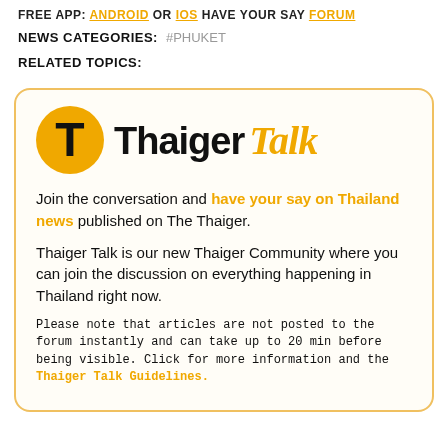FREE APP: ANDROID or IOS HAVE YOUR SAY FORUM
NEWS CATEGORIES: #PHUKET
RELATED TOPICS:
[Figure (logo): Thaiger Talk logo with orange T icon and bold Thaiger text plus italic orange Talk text]
Join the conversation and have your say on Thailand news published on The Thaiger.
Thaiger Talk is our new Thaiger Community where you can join the discussion on everything happening in Thailand right now.
Please note that articles are not posted to the forum instantly and can take up to 20 min before being visible. Click for more information and the Thaiger Talk Guidelines.